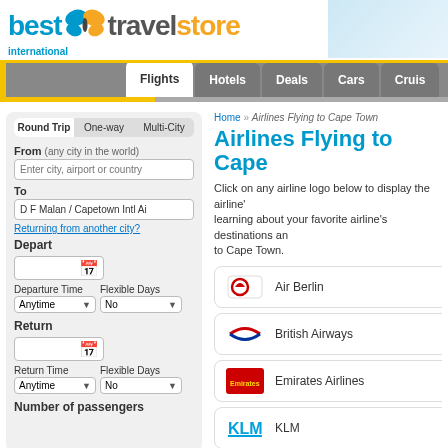[Figure (logo): Best International Travelstore logo with blue and orange butterfly]
Flights | Hotels | Deals | Cars | Cruis
Home » Airlines Flying to Cape Town
Airlines Flying to Cape
Click on any airline logo below to display the airline's learning about your favorite airline's destinations and to Cape Town.
Air Berlin
British Airways
Emirates Airlines
KLM
Malaysian
Qatar Airways